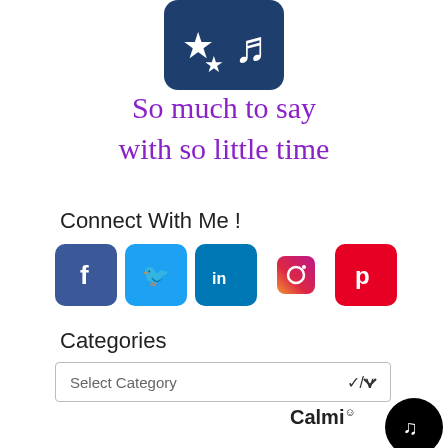[Figure (logo): Dark blue rounded square logo with two stars and a stylized letter or icon in white]
So much to say with so little time
Connect With Me !
[Figure (infographic): Row of social media icons: Facebook (blue), Twitter (light blue), LinkedIn (dark blue), Instagram (gradient), Pinterest (red)]
Categories
[Figure (screenshot): Dropdown select box with placeholder text 'Select Category' and a chevron arrow on the right]
[Figure (infographic): Achieve Calm in — teal bold text for an ad, Calmi logo to the right, TikTok circular icon on far right]